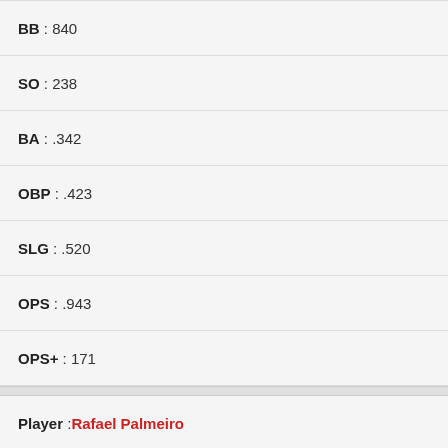BB : 840
SO : 238
BA : .342
OBP : .423
SLG : .520
OPS : .943
OPS+ : 171
Player : Rafael Palmeiro
WAR : 71.9
From : 1986
To : 2005
Logo, Twitter, Facebook icons